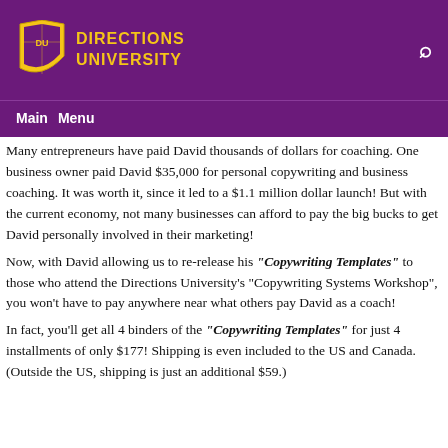Directions University — Main Menu
Many entrepreneurs have paid David thousands of dollars for coaching. One business owner paid David $35,000 for personal copywriting and business coaching. It was worth it, since it led to a $1.1 million dollar launch! But with the current economy, not many businesses can afford to pay the big bucks to get David personally involved in their marketing!
Now, with David allowing us to re-release his "Copywriting Templates" to those who attend the Directions University's "Copywriting Systems Workshop", you won't have to pay anywhere near what others pay David as a coach!
In fact, you'll get all 4 binders of the "Copywriting Templates" for just 4 installments of only $177! Shipping is even included to the US and Canada. (Outside the US, shipping is just an additional $59.)